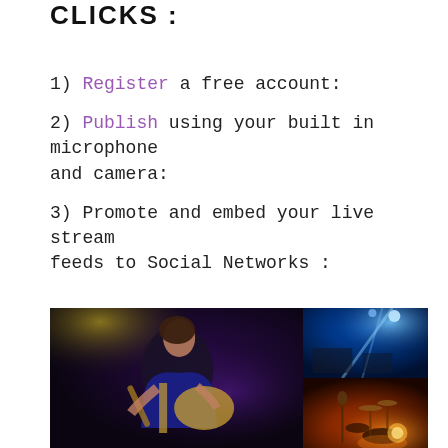CLICKS :
1) Register a free account:
2) Publish using your built in microphone and camera:
3) Promote and embed your live stream feeds to Social Networks :
[Figure (photo): Composite photo: main image of a guitarist performing on stage with purple/yellow lighting, top right shows concert stage with blue spotlights, bottom right shows warm amber/orange concert lighting with instruments.]